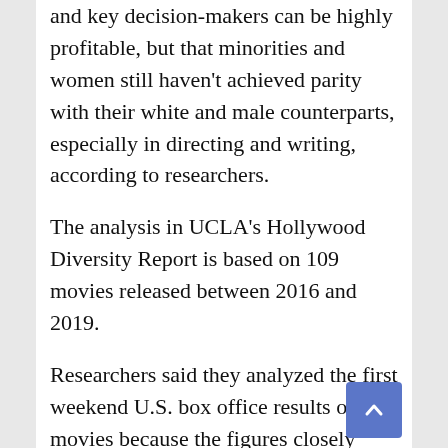and key decision-makers can be highly profitable, but that minorities and women still haven't achieved parity with their white and male counterparts, especially in directing and writing, according to researchers.
The analysis in UCLA's Hollywood Diversity Report is based on 109 movies released between 2016 and 2019.
Researchers said they analyzed the first weekend U.S. box office results of movies because the figures closely capture audience demand before word-of-mouth, reviews and the release of newer films impact attendance.
First weekend box-office receipts, especially for wide releases, typically account for about 25% of a film's total revenue, while wider...